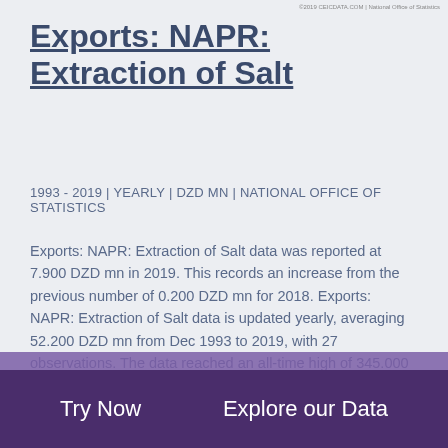©2019 CEIC DATA.COM | National Office of Statistics
Exports: NAPR: Extraction of Salt
1993 - 2019 | YEARLY | DZD MN | NATIONAL OFFICE OF STATISTICS
Exports: NAPR: Extraction of Salt data was reported at 7.900 DZD mn in 2019. This records an increase from the previous number of 0.200 DZD mn for 2018. Exports: NAPR: Extraction of Salt data is updated yearly, averaging 52.200 DZD mn from Dec 1993 to 2019, with 27 observations. The data reached an all-time high of 345.000 DZD mn in 2011 and a record low of 0.000 DZD mn in 1995. Exports: NAPR: Extraction of Salt data remains active status in CEIC and is reported by National Office of Statistics. The data is categorized under Global Database's Algeria – Table DZ.JA004: Exports: by Nomenclature of Activities and Resumed Products.
Try Now    Explore our Data